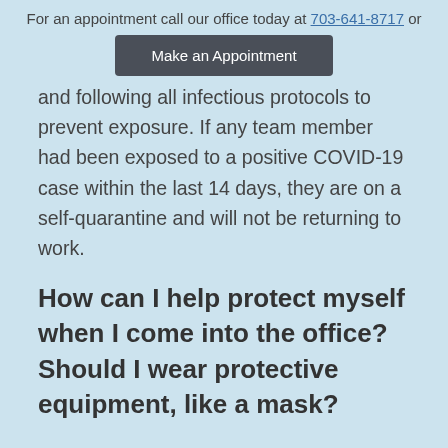For an appointment call our office today at 703-641-8717 or
Make an Appointment
and following all infectious protocols to prevent exposure. If any team member had been exposed to a positive COVID-19 case within the last 14 days, they are on a self-quarantine and will not be returning to work.
How can I help protect myself when I come into the office? Should I wear protective equipment, like a mask?